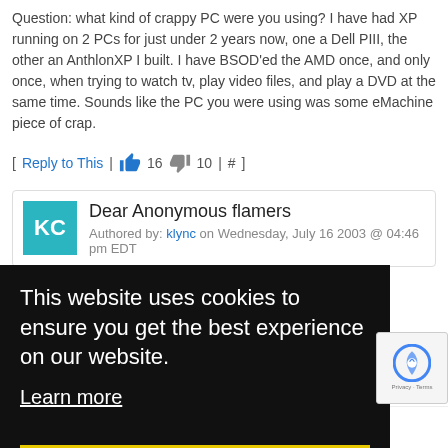Question: what kind of crappy PC were you using? I have had XP running on 2 PCs for just under 2 years now, one a Dell PIII, the other an AnthlonXP I built. I have BSOD'ed the AMD once, and only once, when trying to watch tv, play video files, and play a DVD at the same time. Sounds like the PC you were using was some eMachine piece of crap.
[ Reply to This | 👍 16  👎 10 | # ]
Dear Anonymous flamers
Authored by: klync on Wednesday, July 16 2003 @ 04:46 pm EDT
[Figure (screenshot): Cookie consent banner overlay with dark background. Text reads: 'This website uses cookies to ensure you get the best experience on our website.' with a 'Learn more' link and a yellow 'Got it!' button.]
This Will NEVER happen, so don't worry